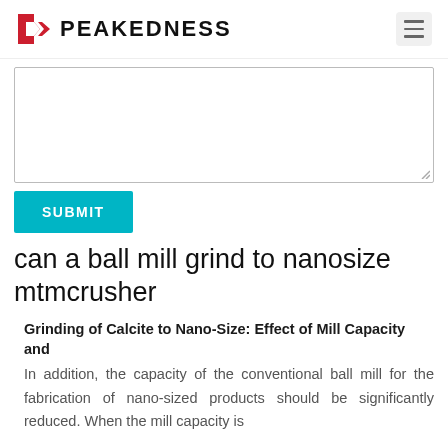PEAKEDNESS
[Figure (other): Empty textarea input field with resize handle]
SUBMIT
can a ball mill grind to nanosize mtmcrusher
Grinding of Calcite to Nano-Size: Effect of Mill Capacity and
In addition, the capacity of the conventional ball mill for the fabrication of nano-sized products should be significantly reduced. When the mill capacity is